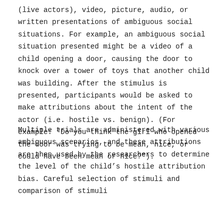(live actors), video, picture, audio, or written presentations of ambiguous social situations. For example, an ambiguous social situation presented might be a video of a child opening a door, causing the door to knock over a tower of toys that another child was building. After the stimulus is presented, participants would be asked to make attributions about the intent of the actor (i.e. hostile vs. benign). (For example: “Do you think the girl who opened the door was trying to be mean, nice, or could have been mean or nice?”).
Multiple trials are administered with various ambiguous scenarios, and these attributions are then used by the researchers to determine the level of the child’s hostile attribution bias. Careful selection of stimuli and comparison of stimuli